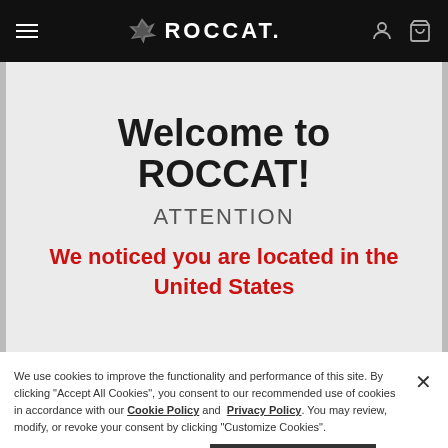ROCCAT navigation bar with hamburger menu, ROCCAT logo, user icon, and cart icon
Welcome to ROCCAT!
ATTENTION
We noticed you are located in the United States
We use cookies to improve the functionality and performance of this site. By clicking "Accept All Cookies", you consent to our recommended use of cookies in accordance with our Cookie Policy and Privacy Policy. You may review, modify, or revoke your consent by clicking "Customize Cookies".
Customize Cookies
Accept All Cookies